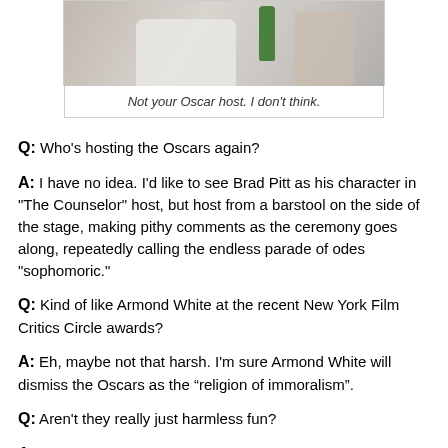[Figure (photo): Partial photo of a person in a white shirt holding a green bottle, cropped at top of page]
Not your Oscar host. I don't think.
Q: Who's hosting the Oscars again?
A: I have no idea. I'd like to see Brad Pitt as his character in "The Counselor" host, but host from a barstool on the side of the stage, making pithy comments as the ceremony goes along, repeatedly calling the endless parade of odes "sophomoric."
Q: Kind of like Armond White at the recent New York Film Critics Circle awards?
A: Eh, maybe not that harsh. I'm sure Armond White will dismiss the Oscars as the “religion of immoralism”.
Q: Aren't they really just harmless fun?
A: Not in Armond's World, sparky. In his world, tuning in to the Oscars does not mean you think movies are kinda cool, it